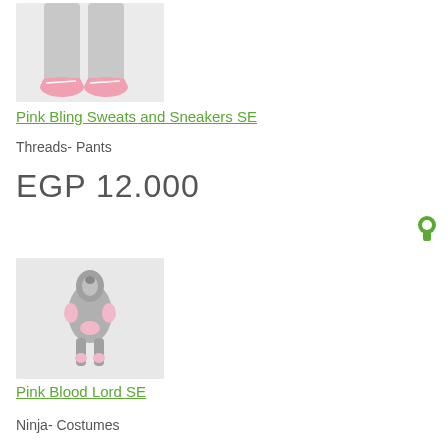[Figure (photo): Cropped image of lower legs wearing grey sweatpants and pink sneakers on white background]
Pink Bling Sweats and Sneakers SE
Threads- Pants
EGP 12.000
[Figure (illustration): Small robot or character figure in pink and grey armor/costume on light grey background]
Pink Blood Lord SE
Ninja- Costumes